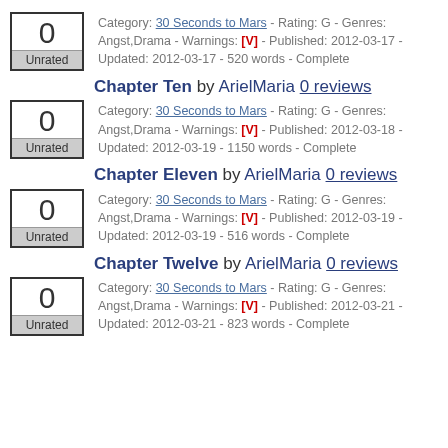Category: 30 Seconds to Mars - Rating: G - Genres: Angst,Drama - Warnings: [V] - Published: 2012-03-17 - Updated: 2012-03-17 - 520 words - Complete
Chapter Ten by ArielMaria 0 reviews | Category: 30 Seconds to Mars - Rating: G - Genres: Angst,Drama - Warnings: [V] - Published: 2012-03-18 - Updated: 2012-03-19 - 1150 words - Complete
Chapter Eleven by ArielMaria 0 reviews | Category: 30 Seconds to Mars - Rating: G - Genres: Angst,Drama - Warnings: [V] - Published: 2012-03-19 - Updated: 2012-03-19 - 516 words - Complete
Chapter Twelve by ArielMaria 0 reviews | Category: 30 Seconds to Mars - Rating: G - Genres: Angst,Drama - Warnings: [V] - Published: 2012-03-21 - Updated: 2012-03-21 - 823 words - Complete